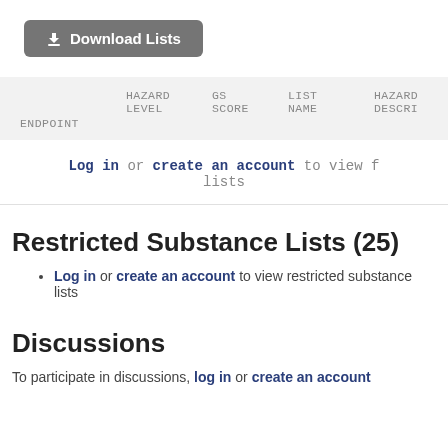[Figure (other): Download Lists button with download icon]
| ENDPOINT | HAZARD LEVEL | GS SCORE | LIST NAME | HAZARD DESCRI... |
| --- | --- | --- | --- | --- |
Log in or create an account to view f... lists
Restricted Substance Lists (25)
Log in or create an account to view restricted substance lists
Discussions
To participate in discussions, log in or create an account